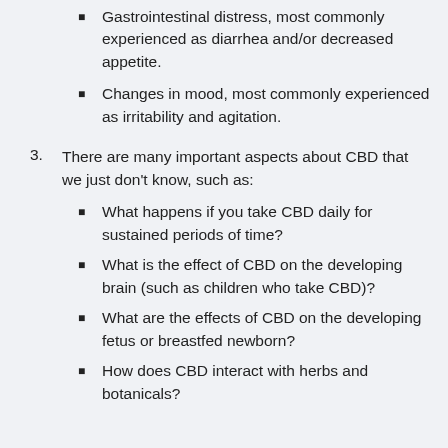Gastrointestinal distress, most commonly experienced as diarrhea and/or decreased appetite.
Changes in mood, most commonly experienced as irritability and agitation.
3. There are many important aspects about CBD that we just don't know, such as:
What happens if you take CBD daily for sustained periods of time?
What is the effect of CBD on the developing brain (such as children who take CBD)?
What are the effects of CBD on the developing fetus or breastfed newborn?
How does CBD interact with herbs and botanicals?